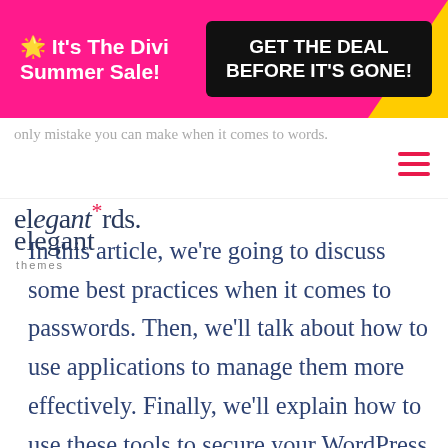[Figure (screenshot): Promotional banner: pink background with '🌟 It's The Divi Summer Sale!' text in white on the left, and a black box 'GET THE DEAL BEFORE IT'S GONE!' button on the right, with yellow decorative corner]
elegant themes logo and navigation bar with hamburger menu
only mistake you can make when it comes to words.
In this article, we're going to discuss some best practices when it comes to passwords. Then, we'll talk about how to use applications to manage them more effectively. Finally, we'll explain how to use these tools to secure your WordPress site.